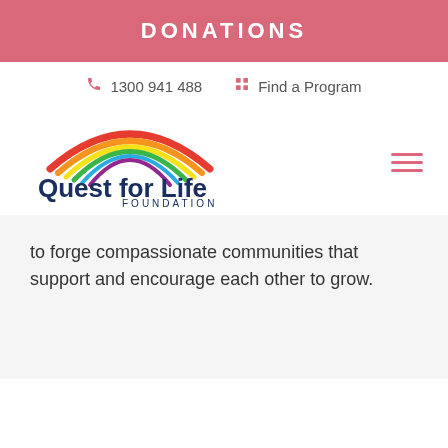DONATIONS
1300 941 488   Find a Program
[Figure (logo): Quest for Life Foundation logo with rainbow arc above the text 'Quest for Life FOUNDATION' in dark navy blue]
to forge compassionate communities that support and encourage each other to grow.